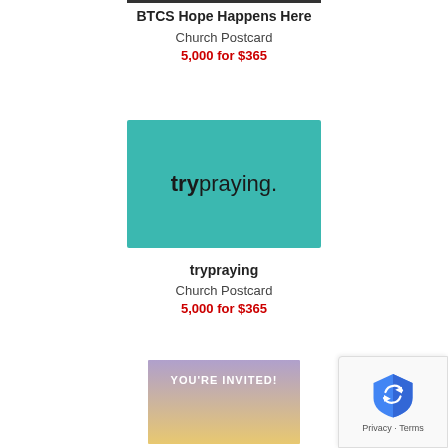BTCS Hope Happens Here
Church Postcard
5,000 for $365
[Figure (illustration): trypraying church postcard — teal/green background with 'trypraying.' text in mixed bold and light weight]
trypraying
Church Postcard
5,000 for $365
[Figure (illustration): YOU'RE INVITED! church postcard with purple-to-gold gradient background, partially visible]
[Figure (other): Google reCAPTCHA privacy badge in bottom-right corner showing reCAPTCHA logo with Privacy and Terms text]